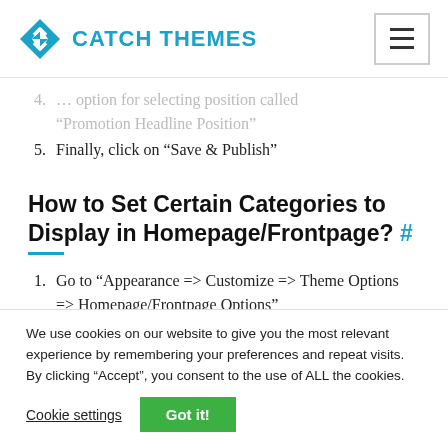CATCH THEMES
4. … option for selecting position called “Promotion Headline Position”
5. Finally, click on “Save & Publish”
How to Set Certain Categories to Display in Homepage/Frontpage? #
1. Go to “Appearance => Customize => Theme Options => Homepage/Frontpage Options”
We use cookies on our website to give you the most relevant experience by remembering your preferences and repeat visits. By clicking “Accept”, you consent to the use of ALL the cookies.
Cookie settings  Got it!